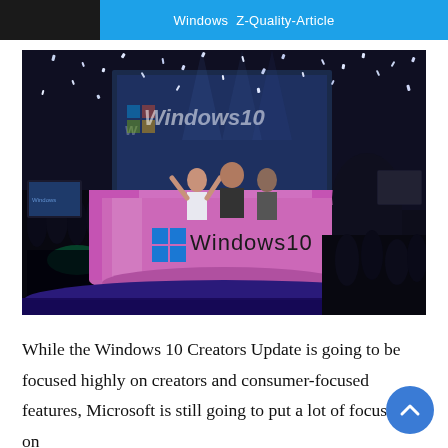Windows  Z-Quality-Article
[Figure (photo): Windows 10 launch event with a large curved display booth lit in pink/magenta, showing the Windows 10 logo, with confetti falling and people celebrating on stage, in a dark event hall.]
While the Windows 10 Creators Update is going to be focused highly on creators and consumer-focused features, Microsoft is still going to put a lot of focus on